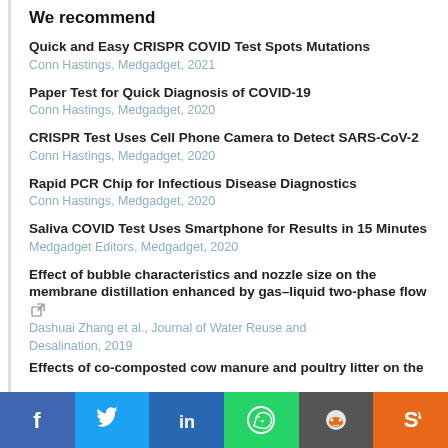We recommend
Quick and Easy CRISPR COVID Test Spots Mutations
Conn Hastings, Medgadget, 2021
Paper Test for Quick Diagnosis of COVID-19
Conn Hastings, Medgadget, 2020
CRISPR Test Uses Cell Phone Camera to Detect SARS-CoV-2
Conn Hastings, Medgadget, 2020
Rapid PCR Chip for Infectious Disease Diagnostics
Conn Hastings, Medgadget, 2020
Saliva COVID Test Uses Smartphone for Results in 15 Minutes
Medgadget Editors, Medgadget, 2020
Effect of bubble characteristics and nozzle size on the membrane distillation enhanced by gas–liquid two-phase flow
Dashuai Zhang et al., Journal of Water Reuse and Desalination, 2019
Effects of co-composted cow manure and poultry litter on the